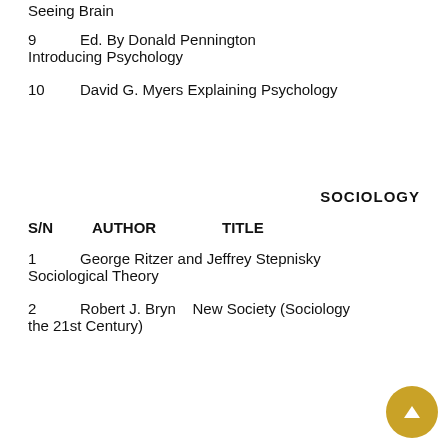Seeing Brain
9          Ed. By Donald Pennington Introducing Psychology
10          David G. Myers Explaining Psychology
SOCIOLOGY
S/N   AUTHOR   TITLE
1          George Ritzer and Jeffrey Stepnisky Sociological Theory
2          Robert J. Bryn   New Society (Sociology for the 21st Century)